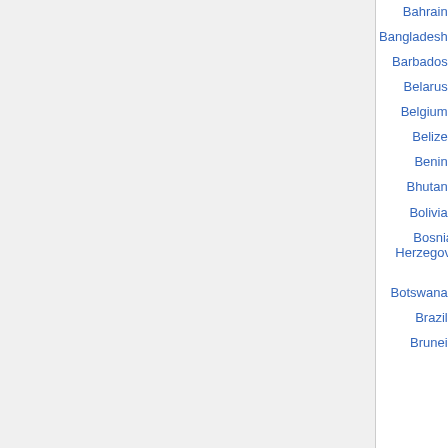| Country | Population |
| --- | --- |
| Bahrain | 1,046,814 |
| Bangladesh | 150,448,340 |
| Barbados | 279,000 |
| Belarus | 9,689,800 |
| Belgium | 10,584,534 |
| Belize | 314,275 |
| Benin | 8,439,000 |
| Bhutan | 672,425 |
| Bolivia | 9,119,152 |
| Bosnia and Herzegovina | 3,981,239 |
| Botswana | 1,639,833 |
| Brazil | 186,757,608 |
| Brunei | 391,450 |
(previous 25) (next 25)
Content is available under a Creative Commons license. Privacy policy  About BioPolicyWiki  Disclaimers